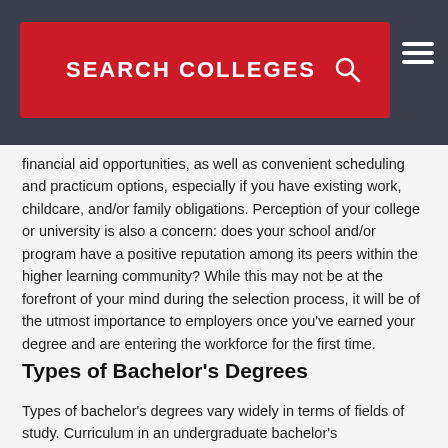SEARCH COLLEGES
financial aid opportunities, as well as convenient scheduling and practicum options, especially if you have existing work, childcare, and/or family obligations. Perception of your college or university is also a concern: does your school and/or program have a positive reputation among its peers within the higher learning community? While this may not be at the forefront of your mind during the selection process, it will be of the utmost importance to employers once you've earned your degree and are entering the workforce for the first time.
Types of Bachelor's Degrees
Types of bachelor's degrees vary widely in terms of fields of study. Curriculum in an undergraduate bachelor's